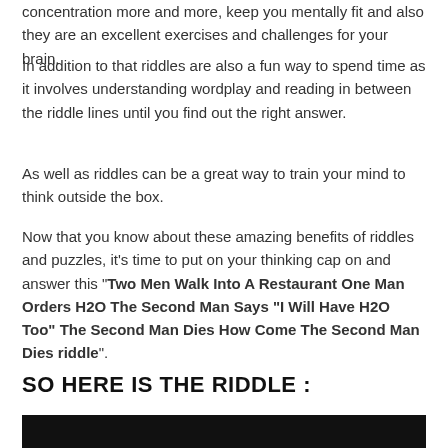concentration more and more, keep you mentally fit and also they are an excellent exercises and challenges for your brain.
In addition to that riddles are also a fun way to spend time as it involves understanding wordplay and reading in between the riddle lines until you find out the right answer.
As well as riddles can be a great way to train your mind to think outside the box.
Now that you know about these amazing benefits of riddles and puzzles, it’s time to put on your thinking cap on and answer this “Two Men Walk Into A Restaurant One Man Orders H2O The Second Man Says “I Will Have H2O Too” The Second Man Dies How Come The Second Man Dies riddle”.
SO HERE IS THE RIDDLE :
[Figure (other): Black bar/image block at the bottom of the page]